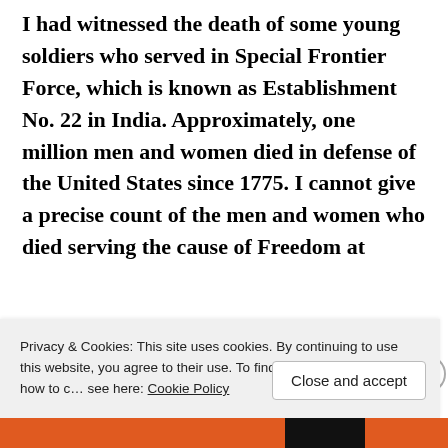I had witnessed the death of some young soldiers who served in Special Frontier Force, which is known as Establishment No. 22 in India. Approximately, one million men and women died in defense of the United States since 1775. I cannot give a precise count of the men and women who died serving the cause of Freedom at Special Frontier F...
Privacy & Cookies: This site uses cookies. By continuing to use this website, you agree to their use. To find out more, including how to control cookies, see here: Cookie Policy